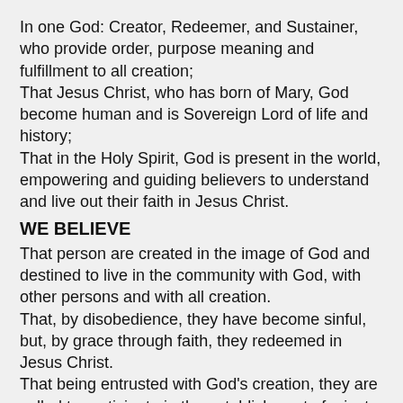In one God: Creator, Redeemer, and Sustainer, who provide order, purpose meaning and fulfillment to all creation;
That Jesus Christ, who has born of Mary, God become human and is Sovereign Lord of life and history;
That in the Holy Spirit, God is present in the world, empowering and guiding believers to understand and live out their faith in Jesus Christ.
WE BELIEVE
That person are created in the image of God and destined to live in the community with God, with other persons and with all creation.
That, by disobedience, they have become sinful, but, by grace through faith, they redeemed in Jesus Christ.
That being entrusted with God's creation, they are called to participate in the establishment of a just and compassionate social order.
WE BELIEVE